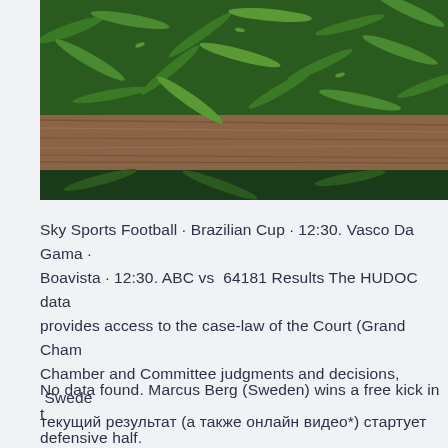[Figure (photo): Close-up photograph of green beans in a wooden crate or tray, viewed from the side showing the wooden edge and green beans piled above.]
Sky Sports Football · Brazilian Cup · 12:30. Vasco Da Gama · Boavista · 12:30. ABC vs  64181 Results The HUDOC data provides access to the case-law of the Court (Grand Chamber and Committee judgments and decisions,  Sweden текущий результат (а также онлайн видео*) стартует
No data found. Marcus Berg (Sweden) wins a free kick in the defensive half.